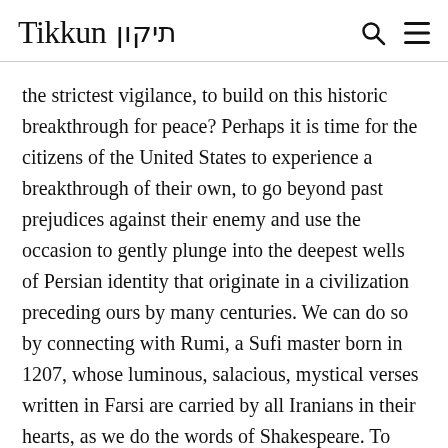Tikkun תיקון
the strictest vigilance, to build on this historic breakthrough for peace? Perhaps it is time for the citizens of the United States to experience a breakthrough of their own, to go beyond past prejudices against their enemy and use the occasion to gently plunge into the deepest wells of Persian identity that originate in a civilization preceding ours by many centuries. We can do so by connecting with Rumi, a Sufi master born in 1207, whose luminous, salacious, mystical verses written in Farsi are carried by all Iranians in their hearts, as we do the words of Shakespeare. To read even a small selection of Rumi's witty poems to his beloved can help shatter the blinding